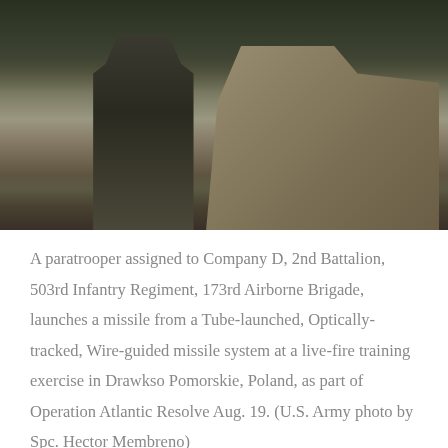[Figure (photo): A paratrooper in military fatigues standing next to a tan military Humvee, outdoors with vegetation in the background.]
A paratrooper assigned to Company D, 2nd Battalion, 503rd Infantry Regiment, 173rd Airborne Brigade, launches a missile from a Tube-launched, Optically-tracked, Wire-guided missile system at a live-fire training exercise in Drawkso Pomorskie, Poland, as part of Operation Atlantic Resolve Aug. 19. (U.S. Army photo by Spc. Hector Membreno)
According to Designation-Systems.net, the BGM-71F TOW 2B doesn't hit the tank directly. Instead, it flies over top of the tank, and fires